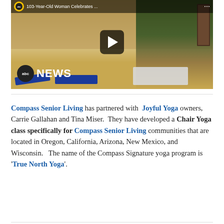[Figure (screenshot): ABC News video thumbnail showing elderly women doing yoga in a community room. Play button overlay in center. abc NEWS logo at bottom left. Top bar shows title '103-Year-Old Woman Celebrates ...' with ABC logo badge.]
Compass Senior Living has partnered with Joyful Yoga owners, Carrie Gallahan and Tina Miser. They have developed a Chair Yoga class specifically for Compass Senior Living communities that are located in Oregon, California, Arizona, New Mexico, and Wisconsin. The name of the Compass Signature yoga program is 'True North Yoga'.